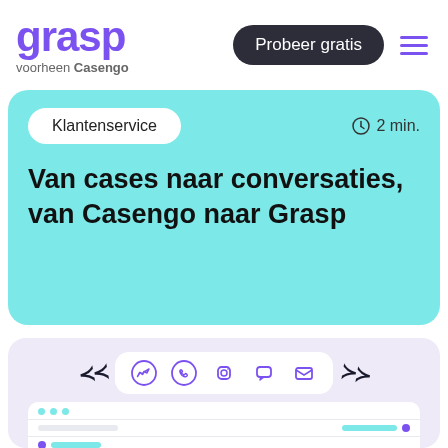[Figure (screenshot): Grasp logo (purple wordmark) with subtitle 'voorheen Casengo', navigation button 'Probeer gratis' and hamburger menu icon]
Klantenservice
2 min.
Van cases naar conversaties, van Casengo naar Grasp
[Figure (illustration): Illustration showing social media channel icons (Messenger, WhatsApp, Instagram, chat bubble, email) in a white pill on a lavender background, with decorative dash marks on each side. Below is a partial chat UI mockup with teal and purple conversation bubbles.]